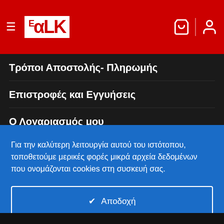[Figure (logo): EaLK red logo on white background in red header bar with hamburger menu, shopping cart icon, and user icon]
Τρόποι Αποστολής- Πληρωμής
Επιστροφές και Εγγυήσεις
Ο Λογαριασμός μου
Για την καλύτερη λειτουργία αυτού του ιστότοπου, τοποθετούμε μερικές φορές μικρά αρχεία δεδομένων που ονομάζονται cookies στη συσκευή σας.
✔  Αποδοχή
Ρυθμίσεις Cookies ⚙